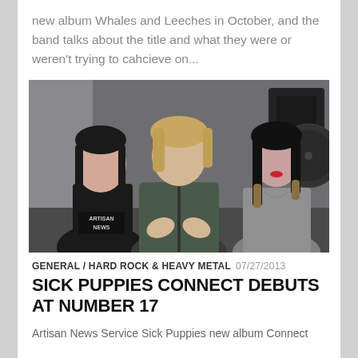new album Whales and Leeches in October, and the band talks about the title and what they were or weren't trying to cahcieve on...
[Figure (photo): Three people seated side by side in what appears to be a studio setting. Left: dark-haired man in black t-shirt with 'Artisan News' text. Center: young man in leather jacket with hands gesturing. Right: dark-haired woman in grey top looking down.]
GENERAL / HARD ROCK & HEAVY METAL  07/27/2013
SICK PUPPIES CONNECT DEBUTS AT NUMBER 17
Artisan News Service Sick Puppies new album Connect